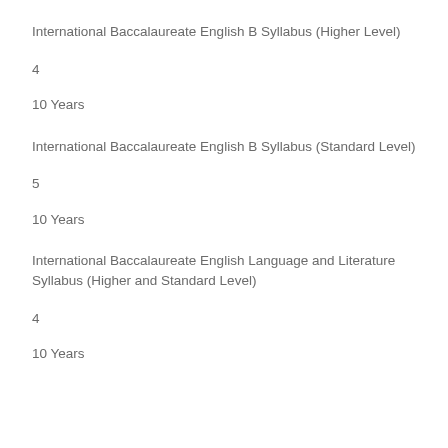International Baccalaureate English B Syllabus (Higher Level)
4
10 Years
International Baccalaureate English B Syllabus (Standard Level)
5
10 Years
International Baccalaureate English Language and Literature Syllabus (Higher and Standard Level)
4
10 Years